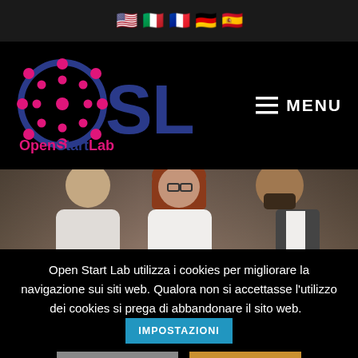[Figure (screenshot): Top navigation bar with country flag icons: USA, Italy, France, Germany, Spain]
[Figure (logo): OpenStartLab logo: OSL letters with pink dots on O, blue SL letters, and 'OpenStartLab' text in pink/blue below. MENU hamburger button on the right.]
[Figure (photo): Hero image: group of business people, woman with red hair and glasses in center, man in suit on right, woman on left, all in muted/dark-tinted photo]
Open Start Lab utilizza i cookies per migliorare la navigazione sui siti web. Qualora non si accettasse l'utilizzo dei cookies si prega di abbandonare il sito web.
IMPOSTAZIONI
ACCETTA
RIFIUTA